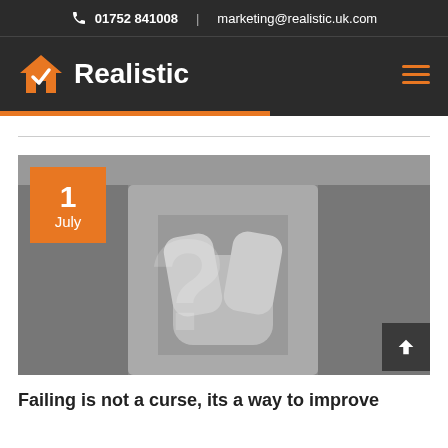📞 01752 841008  |  marketing@realistic.uk.com
[Figure (logo): Realistic logo with orange house/checkmark icon and white bold text 'Realistic' on dark background, with orange hamburger menu icon on right]
[Figure (photo): Black and white photo of a child covering their face with hands, overlaid with large 3D question mark graphics. Orange date badge showing '1 July' in top left corner.]
Failing is not a curse, its a way to improve